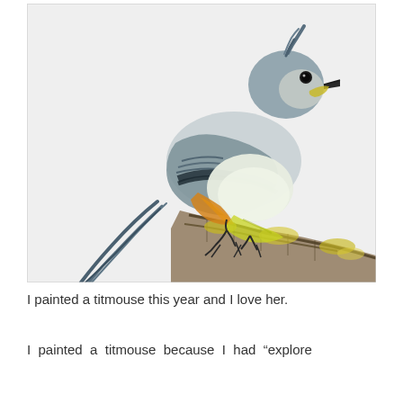[Figure (illustration): A watercolor painting of a tufted titmouse bird perched on a branch. The bird has grey-blue feathers on its back and wings, a white/pale yellow belly, orange-rust flanks, and a small black eye with a grey beak. It sits on a rough brown branch with yellow-green lichen. The background is pale grey-white.]
I painted a titmouse this year and I love her.
I painted a titmouse because I had “explore watercolor painting” on my 2019 to-do and I had